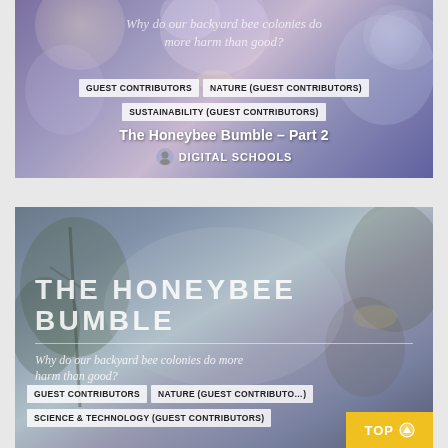[Figure (illustration): Top card: decorative purple/blue floral background with script text 'Why do our backyard bee colonies do more harm than good?' visible at top, followed by category tags (GUEST CONTRIBUTORS, NATURE (GUEST CONTRIBUTORS), SUSTAINABILITY (GUEST CONTRIBUTORS)), title 'The Honeybee Bumble – Part 2', and author line 'DIGITAL SCHOOLS']
[Figure (illustration): Bottom card: blue-grey nature background with 'THE HONEYBEE BUMBLE' large title, italic subtitle 'Why do our backyard bee colonies do more harm than good?', category tags (GUEST CONTRIBUTORS, NATURE (GUEST CONTRIBUTORS), SCIENCE & TECHNOLOGY (GUEST CONTRIBUTORS)), and a yellow 'TOP' button in bottom right]